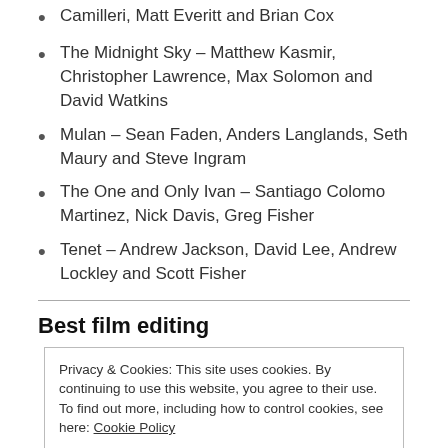Camilleri, Matt Everitt and Brian Cox
The Midnight Sky – Matthew Kasmir, Christopher Lawrence, Max Solomon and David Watkins
Mulan – Sean Faden, Anders Langlands, Seth Maury and Steve Ingram
The One and Only Ivan – Santiago Colomo Martinez, Nick Davis, Greg Fisher
Tenet – Andrew Jackson, David Lee, Andrew Lockley and Scott Fisher
Best film editing
Privacy & Cookies: This site uses cookies. By continuing to use this website, you agree to their use. To find out more, including how to control cookies, see here: Cookie Policy
The Trial of the Chicago 7 – Alan Baumgarten